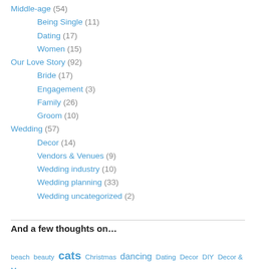Middle-age (54)
Being Single (11)
Dating (17)
Women (15)
Our Love Story (92)
Bride (17)
Engagement (3)
Family (26)
Groom (10)
Wedding (57)
Decor (14)
Vendors & Venues (9)
Wedding industry (10)
Wedding planning (33)
Wedding uncategorized (2)
And a few thoughts on…
beach beauty cats Christmas dancing Dating Decor DIY Decor & More